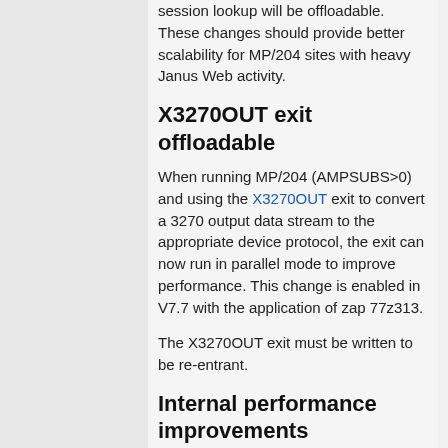session lookup will be offloadable. These changes should provide better scalability for MP/204 sites with heavy Janus Web activity.
X3270OUT exit offloadable
When running MP/204 (AMPSUBS>0) and using the X3270OUT exit to convert a 3270 output data stream to the appropriate device protocol, the exit can now run in parallel mode to improve performance. This change is enabled in V7.7 with the application of zap 77z313.
The X3270OUT exit must be written to be re-entrant.
Internal performance improvements